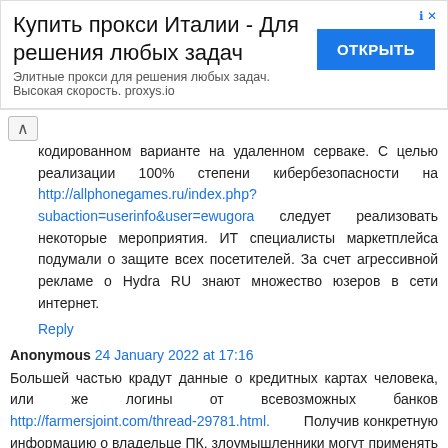[Figure (other): Advertisement banner for Italian proxy service. Title: 'Купить прокси Италии - Для решения любых задач'. Subtitle: 'Элитные прокси для решения любых задач. Высокая скорость. proxys.io'. Button: 'ОТКРЫТЬ'. Info and close icons top right.]
кодированном варианте на удаленном серваке. С целью реализации 100% степени кибербезопасности на http://allphonegames.ru/index.php?subaction=userinfo&user=ewugora следует реализовать некоторые мероприятия. ИТ специалисты маркетплейса подумали о защите всех посетителей. За счет агрессивной рекламе о Hydra RU знают множество юзеров в сети интернет.
Reply
Anonymous 24 January 2022 at 17:16
Большей частью крадут данные о кредитных картах человека, или же логины от всевозможных банков http://farmersjoint.com/thread-29781.html. Получив конкретную информацию о владельце ПК, злоумышленники могут применять данные для